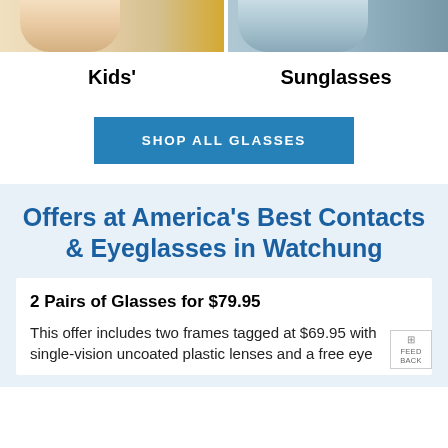[Figure (photo): Two cropped photos side by side: left shows a child in white shirt with yellow background, right shows a man in a blue/grey shirt]
Kids'
Sunglasses
SHOP ALL GLASSES
Offers at America's Best Contacts & Eyeglasses in Watchung
2 Pairs of Glasses for $79.95
This offer includes two frames tagged at $69.95 with single-vision uncoated plastic lenses and a free eye